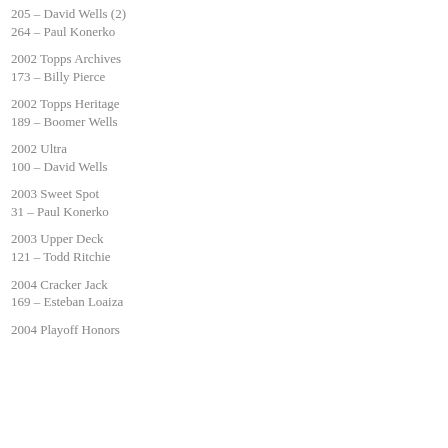205 – David Wells (2)
264 – Paul Konerko
2002 Topps Archives
173 – Billy Pierce
2002 Topps Heritage
189 – Boomer Wells
2002 Ultra
100 – David Wells
2003 Sweet Spot
31 – Paul Konerko
2003 Upper Deck
121 – Todd Ritchie
2004 Cracker Jack
169 – Esteban Loaiza
2004 Playoff Honors